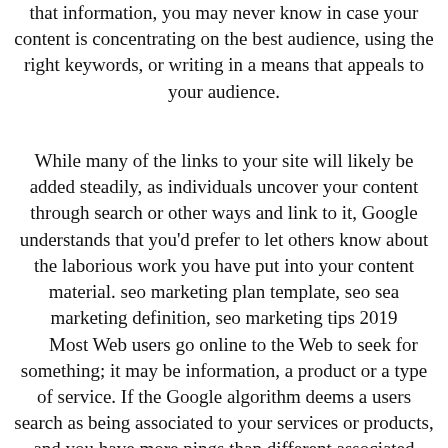that information, you may never know in case your content is concentrating on the best audience, using the right keywords, or writing in a means that appeals to your audience.
While many of the links to your site will likely be added steadily, as individuals uncover your content through search or other ways and link to it, Google understands that you'd prefer to let others know about the laborious work you have put into your content material. seo marketing plan template, seo sea marketing definition, seo marketing tips 2019 Most Web users go online to the Web to seek for something; it may be information, a product or a type of service. If the Google algorithm deems a users search as being associated to your services or products, and you have more pings than different associated outcomes, you're going to rank first on the page, thus making you the almost definitely to obtain related site visitors.